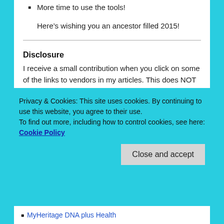More time to use the tools!
Here’s wishing you an ancestor filled 2015!
Disclosure
I receive a small contribution when you click on some of the links to vendors in my articles. This does NOT increase the price you pay but helps me to keep the lights on and this informational blog free for everyone. Please click on the links in the articles or to the vendors below if you are purchasing products or DNA testing.
Privacy & Cookies: This site uses cookies. By continuing to use this website, you agree to their use.
To find out more, including how to control cookies, see here: Cookie Policy
MyHeritage DNA plus Health